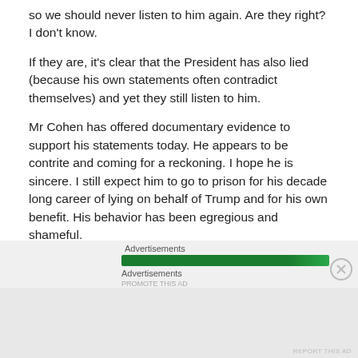so we should never listen to him again. Are they right? I don't know.
If they are, it's clear that the President has also lied (because his own statements often contradict themselves) and yet they still listen to him.
Mr Cohen has offered documentary evidence to support his statements today. He appears to be contrite and coming for a reckoning. I hope he is sincere. I still expect him to go to prison for his decade long career of lying on behalf of Trump and for his own benefit. His behavior has been egregious and shameful.
[Figure (other): Advertisements bar with green progress bar and close button, followed by Advertisements label and gray footer area]